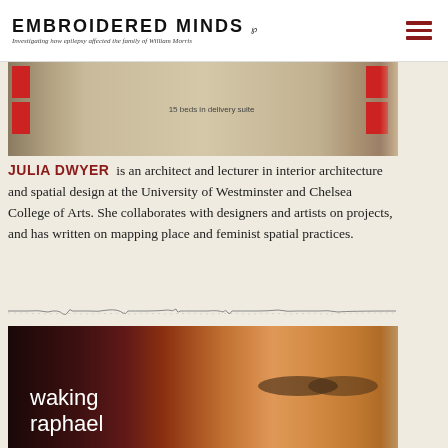EMBROIDERED MINDS — Investigating how epilepsy affected the family of William Morris
[Figure (photo): Partial view of an artwork or installation showing wooden elements with red squares, with caption '15 beds in delivery suite']
JULIA DWYER is an architect and lecturer in interior architecture and spatial design at the University of Westminster and Chelsea College of Arts. She collaborates with designers and artists on projects, and has written on mapping place and feminist spatial practices.
[Figure (illustration): Decorative EEG-like wavy line divider]
[Figure (photo): Book cover showing a close-up of a face reminiscent of a Renaissance portrait, with text 'waking raphael' in white lowercase letters on the left side]